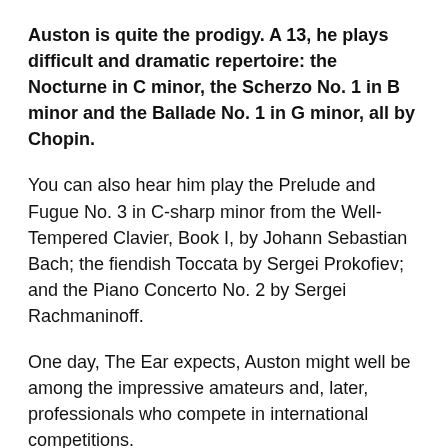Auston is quite the prodigy. A 13, he plays difficult and dramatic repertoire: the Nocturne in C minor, the Scherzo No. 1 in B minor and the Ballade No. 1 in G minor, all by Chopin.
You can also hear him play the Prelude and Fugue No. 3 in C-sharp minor from the Well-Tempered Clavier, Book I, by Johann Sebastian Bach; the fiendish Toccata by Sergei Prokofiev; and the Piano Concerto No. 2 by Sergei Rachmaninoff.
One day, The Ear expects, Auston might well be among the impressive amateurs and, later, professionals who compete in international competitions.
But more than listening to him playing, his frequent social media entries – sometimes he posts two or